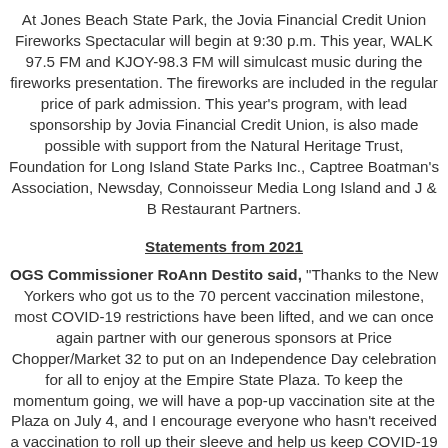At Jones Beach State Park, the Jovia Financial Credit Union Fireworks Spectacular will begin at 9:30 p.m. This year, WALK 97.5 FM and KJOY-98.3 FM will simulcast music during the fireworks presentation. The fireworks are included in the regular price of park admission. This year's program, with lead sponsorship by Jovia Financial Credit Union, is also made possible with support from the Natural Heritage Trust, Foundation for Long Island State Parks Inc., Captree Boatman's Association, Newsday, Connoisseur Media Long Island and J & B Restaurant Partners.
Statements from 2021
OGS Commissioner RoAnn Destito said, "Thanks to the New Yorkers who got us to the 70 percent vaccination milestone, most COVID-19 restrictions have been lifted, and we can once again partner with our generous sponsors at Price Chopper/Market 32 to put on an Independence Day celebration for all to enjoy at the Empire State Plaza. To keep the momentum going, we will have a pop-up vaccination site at the Plaza on July 4, and I encourage everyone who hasn't received a vaccination to roll up their sleeve and help us keep COVID-19 on the retreat."